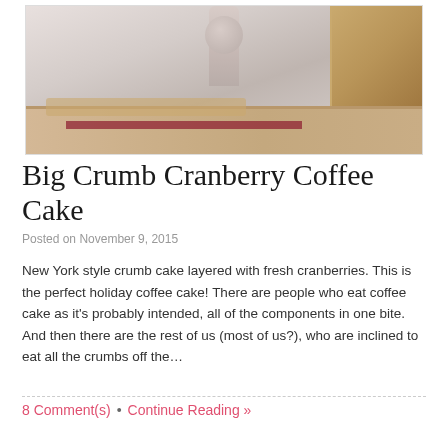[Figure (photo): Photo of Big Crumb Cranberry Coffee Cake on a pedestal with crumble topping and cranberry layer visible]
Big Crumb Cranberry Coffee Cake
Posted on November 9, 2015
New York style crumb cake layered with fresh cranberries. This is the perfect holiday coffee cake! There are people who eat coffee cake as it's probably intended, all of the components in one bite. And then there are the rest of us (most of us?), who are inclined to eat all the crumbs off the…
8 Comment(s)  •  Continue Reading »